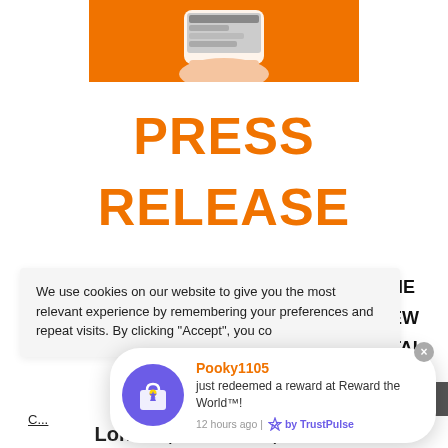[Figure (photo): Hand holding a smartphone with app content, orange background]
PRESS RELEASE
We use cookies on our website to give you the most relevant experience by remembering your preferences and repeat visits. By clicking "Accept", you co...
Pooky1105 just redeemed a reward at Reward the World™! 12 hours ago | by TrustPulse
London, 24th June, 2022 —